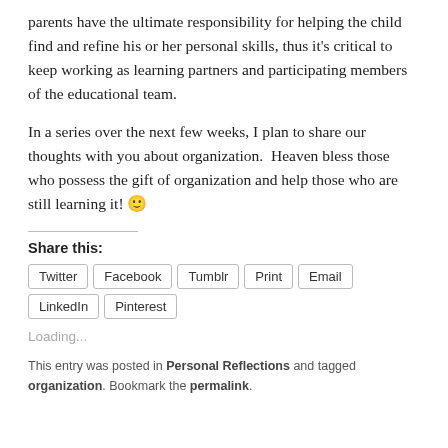parents have the ultimate responsibility for helping the child find and refine his or her personal skills, thus it's critical to keep working as learning partners and participating members of the educational team.
In a series over the next few weeks, I plan to share our thoughts with you about organization.  Heaven bless those who possess the gift of organization and help those who are still learning it! 🙂
Share this:
Twitter
Facebook
Tumblr
Print
Email
LinkedIn
Pinterest
Loading...
This entry was posted in Personal Reflections and tagged organization. Bookmark the permalink.